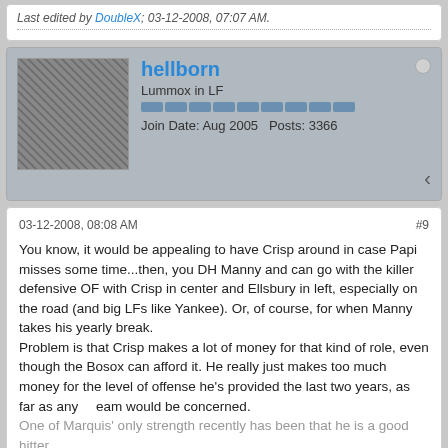Last edited by DoubleX; 03-12-2008, 07:07 AM.
hellborn
Lummox in LF
Join Date: Aug 2005  Posts: 3366
03-12-2008, 08:08 AM
#9
You know, it would be appealing to have Crisp around in case Papi misses some time...then, you DH Manny and can go with the killer defensive OF with Crisp in center and Ellsbury in left, especially on the road (and big LFs like Yankee). Or, of course, for when Manny takes his yearly break.
Problem is that Crisp makes a lot of money for that kind of role, even though the Bosox can afford it. He really just makes too much money for the level of offense he's provided the last two years, as far as any team would be concerned.
One of Marquis' only strength recently has been that he is a good hitter for a pitcher, but that's useless in the AL. Rather get a young reliever who can help out now or down the road.
"I throw"
Preacher Roe on pitching to Musial